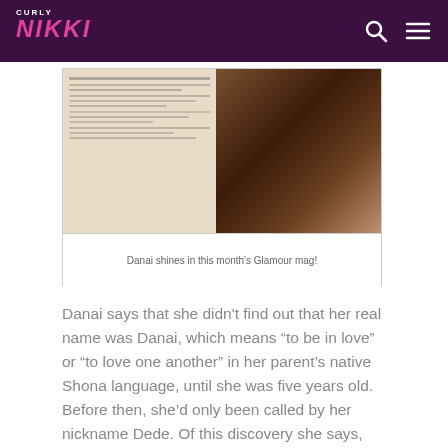CURLY NIKKI
[Figure (photo): Photo of Danai Gurira in Glamour magazine, showing a partial image of her alongside a text-heavy magazine page spread.]
Danai shines in this month's Glamour mag!
Danai says that she didn't find out that her real name was Danai, which means “to be in love” or “to love one another” in her parent’s native Shona language, until she was five years old. Before then, she’d only been called by her nickname Dede. Of this discovery she says,